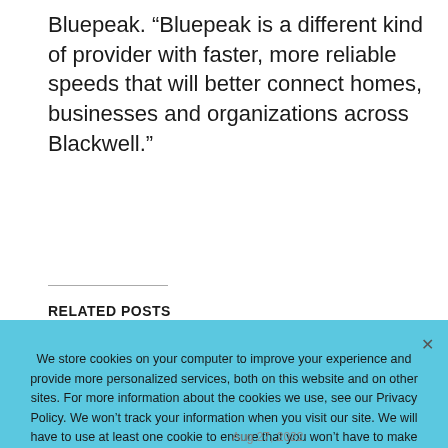Bluepeak. “Bluepeak is a different kind of provider with faster, more reliable speeds that will better connect homes, businesses and organizations across Blackwell.”
RELATED POSTS
[Figure (photo): Thumbnail image showing a robotic hand and a human hand against a light background, with a VMware logo visible]
VMware Helps Partners Perform and Transform with the Next Evolution of VMware Partner Connect
Aug 27, 2022
We store cookies on your computer to improve your experience and provide more personalized services, both on this website and on other sites. For more information about the cookies we use, see our Privacy Policy. We won’t track your information when you visit our site. We will have to use at least one cookie to ensure that you won’t have to make this choice again.
Accept   Decline   Privacy Policy